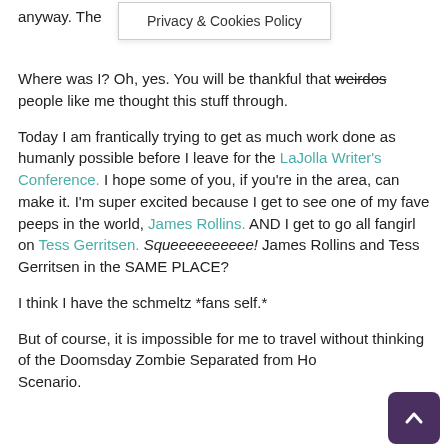anyway. The
Privacy & Cookies Policy
Where was I? Oh, yes. You will be thankful that weirdos people like me thought this stuff through.
Today I am frantically trying to get as much work done as humanly possible before I leave for the LaJolla Writer's Conference. I hope some of you, if you're in the area, can make it. I'm super excited because I get to see one of my fave peeps in the world, James Rollins. AND I get to go all fangirl on Tess Gerritsen. Squeeeeeeeeee! James Rollins and Tess Gerritsen in the SAME PLACE?
I think I have the schmeltz *fans self.*
But of course, it is impossible for me to travel without thinking of the Doomsday Zombie Separated from Ho Scenario.